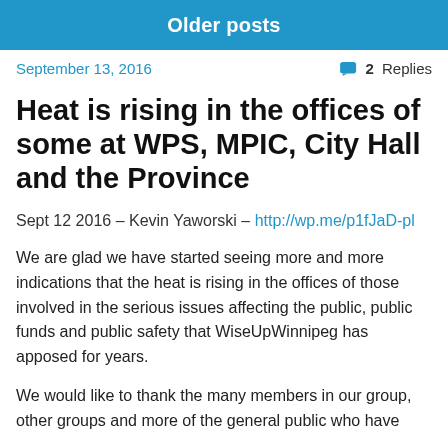Older posts
September 13, 2016    💬 2 Replies
Heat is rising in the offices of some at WPS, MPIC, City Hall and the Province
Sept 12 2016 – Kevin Yaworski – http://wp.me/p1fJaD-pl
We are glad we have started seeing more and more indications that the heat is rising in the offices of those involved in the serious issues affecting the public, public funds and public safety that WiseUpWinnipeg has apposed for years.
We would like to thank the many members in our group, other groups and more of the general public who have